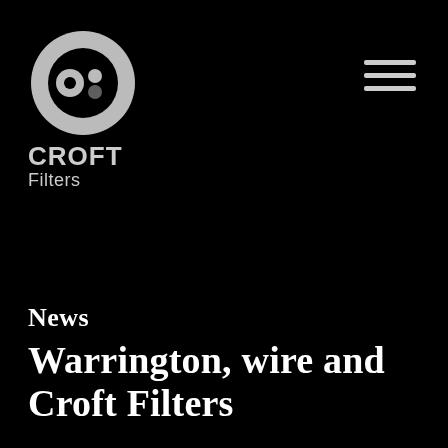[Figure (logo): Croft Filters logo: circular icon with inner circle and two dots, with text CROFT Filters below]
[Figure (other): Hamburger menu icon: three horizontal white lines]
News
Warrington, wire and Croft Filters